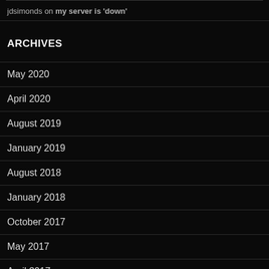jdsimonds on my server is 'down'
ARCHIVES
May 2020
April 2020
August 2019
January 2019
August 2018
January 2018
October 2017
May 2017
April 2017